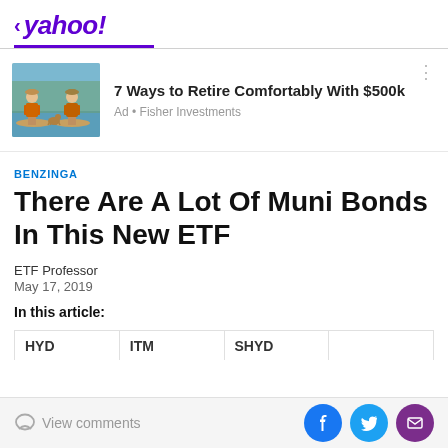< yahoo!
[Figure (illustration): Two people paddleboarding with a dog, illustration for Fisher Investments ad]
7 Ways to Retire Comfortably With $500k
Ad • Fisher Investments
BENZINGA
There Are A Lot Of Muni Bonds In This New ETF
ETF Professor
May 17, 2019
In this article:
HYD	ITM	SHYD
View comments